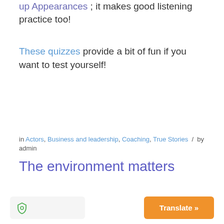up Appearances ; it makes good listening practice too!
These quizzes provide a bit of fun if you want to test yourself!
in Actors, Business and leadership, Coaching, True Stories / by admin
The environment matters